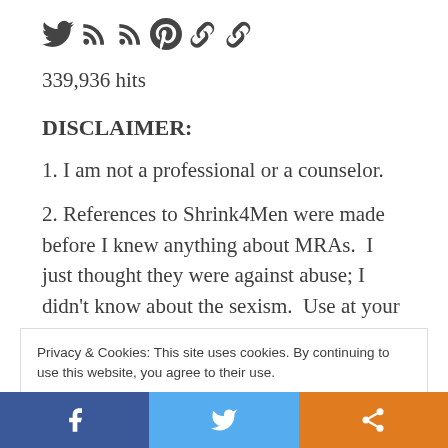[Figure (other): Social media icon links: Twitter bird, two RSS feed icons, Pinterest icon, and two link/chain icons in dark gray]
339,936 hits
DISCLAIMER:
1. I am not a professional or a counselor.
2. References to Shrink4Men were made before I knew anything about MRAs.  I just thought they were against abuse; I didn't know about the sexism.  Use at your own risk.
Privacy & Cookies: This site uses cookies. By continuing to use this website, you agree to their use.
To find out more, including how to control cookies, see here: Cookie Policy
[Figure (other): Bottom share bar with three buttons: Facebook (blue), Twitter (light blue), Share (orange)]